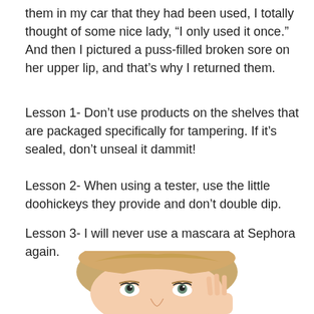them in my car that they had been used, I totally thought of some nice lady, “I only used it once.” And then I pictured a puss-filled broken sore on her upper lip, and that’s why I returned them.
Lesson 1- Don’t use products on the shelves that are packaged specifically for tampering. If it’s sealed, don’t unseal it dammit!
Lesson 2- When using a tester, use the little doohickeys they provide and don’t double dip.
Lesson 3- I will never use a mascara at Sephora again.
[Figure (photo): Blonde woman looking upward with hands on cheeks, cropped from forehead to chin area]